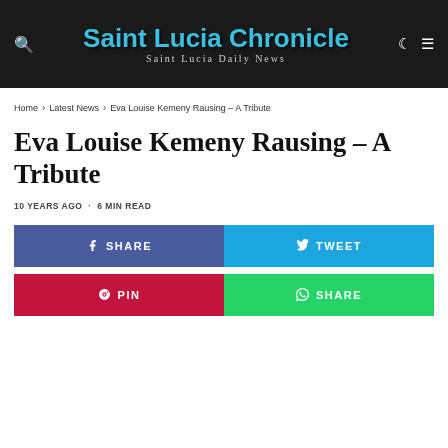Saint Lucia Chronicle — Saint Lucia Daily News
Home > Latest News > Eva Louise Kemeny Rausing – A Tribute
Eva Louise Kemeny Rausing – A Tribute
10 YEARS AGO · 6 MIN READ
[Figure (other): Social share buttons: Share (Facebook), Tweet, Pin, Share (WhatsApp)]